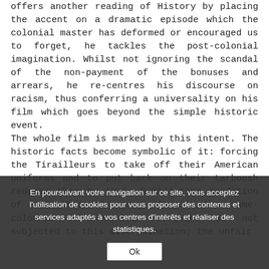offers another reading of History by placing the accent on a dramatic episode which the colonial master has deformed or encouraged us to forget, he tackles the post-colonial imagination. Whilst not ignoring the scandal of the non-payment of the bonuses and arrears, he re-centres his discourse on racism, thus conferring a universality on his film which goes beyond the simple historic event. The whole film is marked by this intent. The historic facts become symbolic of it: forcing the Tirailleurs to take off their American uniforms and to put back on their tarboosh reduces them to their humiliating condition of colonized Africans, whereas the same-coloured Afro-American sergeant is not subjected to this discrimination; the unfair
En poursuivant votre navigation sur ce site, vous acceptez l'utilisation de cookies pour vous proposer des contenus et services adaptés à vos centres d'intérêts et réaliser des statistiques.
Ok